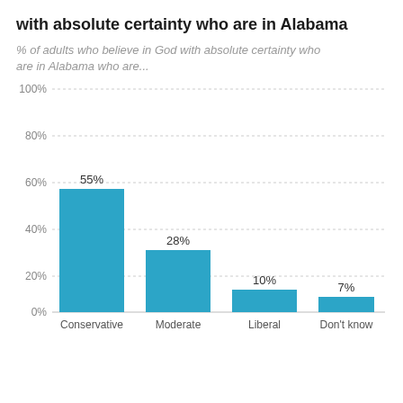with absolute certainty who are in Alabama
% of adults who believe in God with absolute certainty who are in Alabama who are...
[Figure (bar-chart): % of adults who believe in God with absolute certainty who are in Alabama who are...]